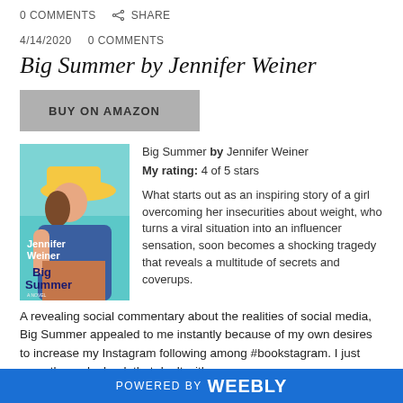0 COMMENTS   SHARE
4/14/2020   0 COMMENTS
Big Summer by Jennifer Weiner
[Figure (other): Gray button labeled BUY ON AMAZON]
[Figure (illustration): Book cover of Big Summer by Jennifer Weiner — teal background with illustrated woman in yellow hat, text 'Jennifer Weiner Big Summer A Novel']
Big Summer by Jennifer Weiner
My rating: 4 of 5 stars

What starts out as an inspiring story of a girl overcoming her insecurities about weight, who turns a viral situation into an influencer sensation, soon becomes a shocking tragedy that reveals a multitude of secrets and coverups.
A revealing social commentary about the realities of social media, Big Summer appealed to me instantly because of my own desires to increase my Instagram following among #bookstagram. I just recently read a book that dealt with a
POWERED BY weebly